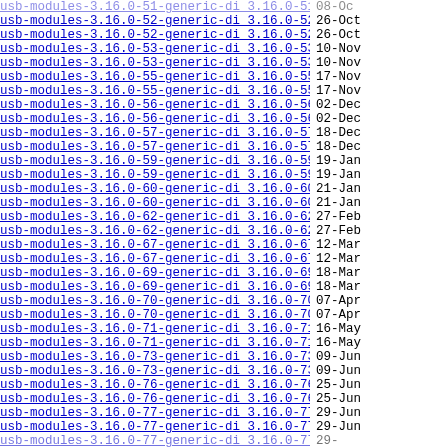usb-modules-3.16.0-51-generic-di 3.16.0-51.69~1..> 08-Oct
usb-modules-3.16.0-52-generic-di 3.16.0-52.71~1..> 26-Oct
usb-modules-3.16.0-52-generic-di 3.16.0-52.71~1..> 26-Oct
usb-modules-3.16.0-53-generic-di 3.16.0-53.72~1..> 10-Nov
usb-modules-3.16.0-53-generic-di 3.16.0-53.72~1..> 10-Nov
usb-modules-3.16.0-55-generic-di 3.16.0-55.74~1..> 17-Nov
usb-modules-3.16.0-55-generic-di 3.16.0-55.74~1..> 17-Nov
usb-modules-3.16.0-56-generic-di 3.16.0-56.75~1..> 02-Dec
usb-modules-3.16.0-56-generic-di 3.16.0-56.75~1..> 02-Dec
usb-modules-3.16.0-57-generic-di 3.16.0-57.77~1..> 18-Dec
usb-modules-3.16.0-57-generic-di 3.16.0-57.77~1..> 18-Dec
usb-modules-3.16.0-59-generic-di 3.16.0-59.79~1..> 19-Jan
usb-modules-3.16.0-59-generic-di 3.16.0-59.79~1..> 19-Jan
usb-modules-3.16.0-60-generic-di 3.16.0-60.80~1..> 21-Jan
usb-modules-3.16.0-60-generic-di 3.16.0-60.80~1..> 21-Jan
usb-modules-3.16.0-62-generic-di 3.16.0-62.83~1..> 27-Feb
usb-modules-3.16.0-62-generic-di 3.16.0-62.83~1..> 27-Feb
usb-modules-3.16.0-67-generic-di 3.16.0-67.87~1..> 12-Mar
usb-modules-3.16.0-67-generic-di 3.16.0-67.87~1..> 12-Mar
usb-modules-3.16.0-69-generic-di 3.16.0-69.89~1..> 18-Mar
usb-modules-3.16.0-69-generic-di 3.16.0-69.89~1..> 18-Mar
usb-modules-3.16.0-70-generic-di 3.16.0-70.90~1..> 07-Apr
usb-modules-3.16.0-70-generic-di 3.16.0-70.90~1..> 07-Apr
usb-modules-3.16.0-71-generic-di 3.16.0-71.92~1..> 16-May
usb-modules-3.16.0-71-generic-di 3.16.0-71.92~1..> 16-May
usb-modules-3.16.0-73-generic-di 3.16.0-73.95~1..> 09-Jun
usb-modules-3.16.0-73-generic-di 3.16.0-73.95~1..> 09-Jun
usb-modules-3.16.0-76-generic-di 3.16.0-76.98~1..> 25-Jun
usb-modules-3.16.0-76-generic-di 3.16.0-76.98~1..> 25-Jun
usb-modules-3.16.0-77-generic-di 3.16.0-77.99~1..> 29-Jun
usb-modules-3.16.0-77-generic-di 3.16.0-77.99~1..> 29-Jun
usb-modules-3.16.0-77-generic-di 3.16.0-77.99~1..> 29-